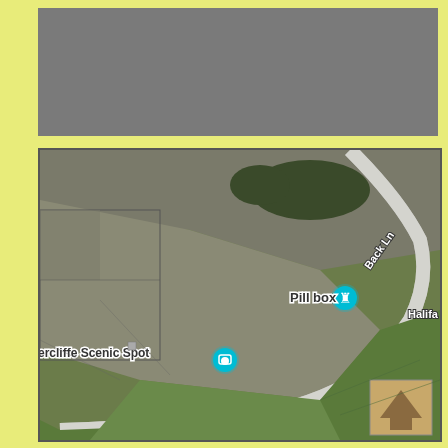[Figure (map): Aerial/satellite map view showing rural fields from a bird's-eye perspective. A road labeled 'Back Ln' curves from upper right down through the scene. At the road junction is a marker labeled 'Pill box' with a castle/fortification icon. Another marker labeled 'ercliffe Scenic Spot' (partially visible, with a camera icon) is in the lower left area. The word 'Halifa' (partially cut off) appears at the far right. A small map thumbnail appears in the lower right corner. The fields are various shades of green and brown/grey, indicating agricultural land.]